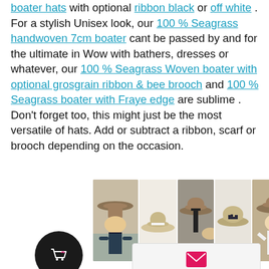boater hats with optional ribbon black or off white . For a stylish Unisex look, our 100 % Seagrass handwoven 7cm boater cant be passed by and for the ultimate in Wow with bathers, dresses or whatever, our 100 % Seagrass Woven boater with optional grosgrain ribbon & bee brooch and 100 % Seagrass boater with Fraye edge are sublime . Don't forget too, this might just be the most versatile of hats. Add or subtract a ribbon, scarf or brooch depending on the occasion.
[Figure (photo): Five product photos of boater hats: person wearing hat by pool, plain hat with ribbon, hat with black ribbon from behind, hat with dark bow flat lay, person wearing hat]